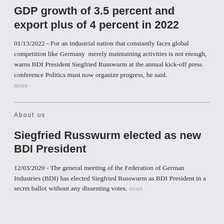GDP growth of 3.5 percent and export plus of 4 percent in 2022
01/13/2022 - For an industrial nation that constantly faces global competition like Germany  merely maintaining activities is not enough, warns BDI President Siegfried Russwurm at the annual kick-off press conference Politics must now organize progress, he said. more
About us
Siegfried Russwurm elected as new BDI President
12/03/2020 - The general meeting of the Federation of German Industries (BDI) has elected Siegfried Russwurm as BDI President in a secret ballot without any dissenting votes. more